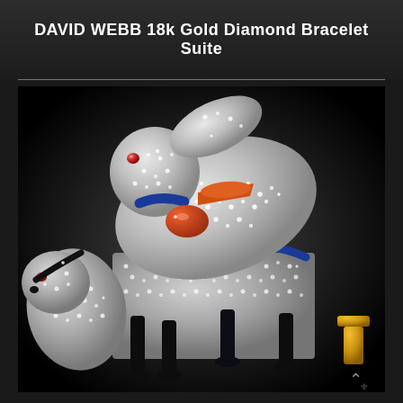DAVID WEBB 18k Gold Diamond Bracelet Suite
[Figure (photo): Close-up photograph of a DAVID WEBB 18k gold and diamond encrusted brooch/bracelet suite depicting a rabbit leaping over a cart or box pulled by a small dog. The animals are heavily set with round brilliant diamonds. Accents include blue enamel collar and handles, coral/orange cabochon elements, ruby cabochon eyes, black enamel legs, and a gold cufflink is visible at bottom right corner.]